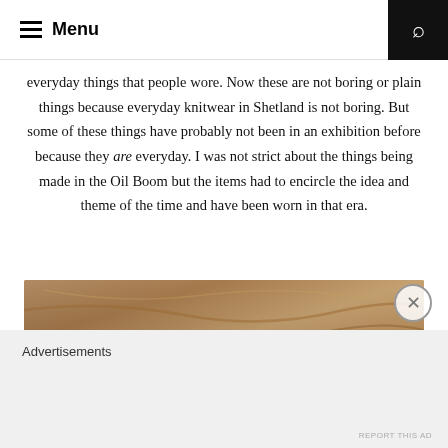Menu
everyday things that people wore. Now these are not boring or plain things because everyday knitwear in Shetland is not boring. But some of these things have probably not been in an exhibition before because they are everyday. I was not strict about the things being made in the Oil Boom but the items had to encircle the idea and theme of the time and have been worn in that era.
[Figure (photo): Close-up photograph of layered knitwear or textile fabric in earthy brown and beige tones.]
Advertisements